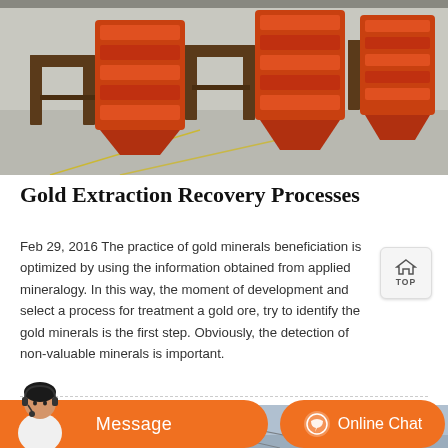[Figure (photo): Industrial mining equipment — orange-colored machinery (spiral chutes/separators) on a factory floor with wooden frames]
Gold Extraction Recovery Processes
Feb 29, 2016 The practice of gold minerals beneficiation is optimized by using the information obtained from applied mineralogy. In this way, the moment of development and select a process for treatment a gold ore, try to identify the gold minerals is the first step. Obviously, the detection of non-valuable minerals is important.
[Figure (photo): Outdoor industrial structure with cables/wires, partially visible, with an orange message bar overlay at bottom showing 'Message' and 'Online Chat' buttons with a customer service representative]